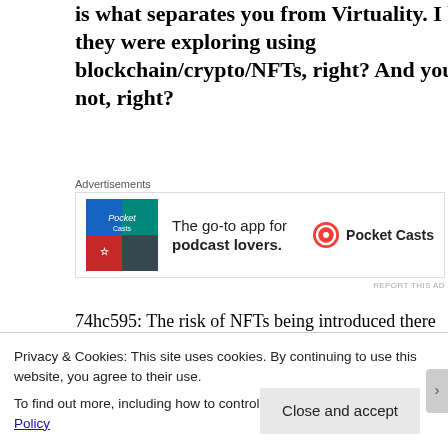is what separates you from Virtuality. I believe they were exploring using blockchain/crypto/NFTs, right? And you're not, right?
[Figure (other): Pocket Casts advertisement banner: colorful app icon on left, text 'The go-to app for podcast lovers.' in center, Pocket Casts logo and name on right. 'Advertisements' label above. 'REPORT THIS AD' link below.]
74hc595: The risk of NFTs being introduced there is one difference—we have no intentions of monetizing Overte in any way (but of course commercial worlds created by users are possible).
Privacy & Cookies: This site uses cookies. By continuing to use this website, you agree to their use.
To find out more, including how to control cookies, see here: Cookie Policy
Close and accept